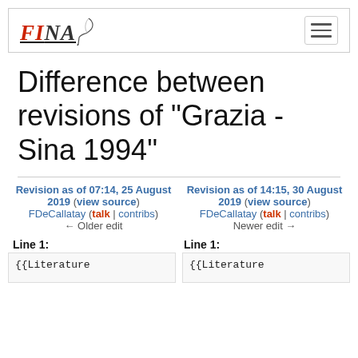FINA (logo with hamburger menu)
Difference between revisions of "Grazia - Sina 1994"
Revision as of 07:14, 25 August 2019 (view source)
FDeCallatay (talk | contribs)
← Older edit
Revision as of 14:15, 30 August 2019 (view source)
FDeCallatay (talk | contribs)
Newer edit →
Line 1:
Line 1:
{{Literature
{{Literature